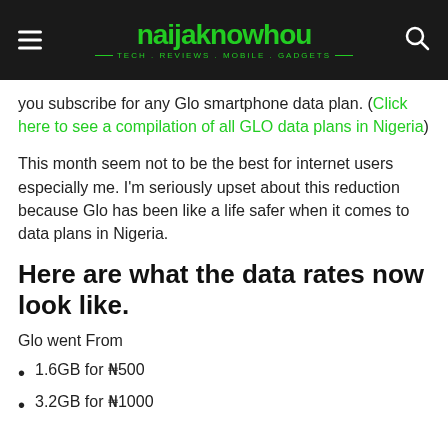naijaknowhou — TECH . REVIEWS . MOBILE . GADGETS
you subscribe for any Glo smartphone data plan. (Click here to see a compilation of all GLO data plans in Nigeria)
This month seem not to be the best for internet users especially me. I'm seriously upset about this reduction because Glo has been like a life safer when it comes to data plans in Nigeria.
Here are what the data rates now look like.
Glo went From
1.6GB for ₦500
3.2GB for ₦1000